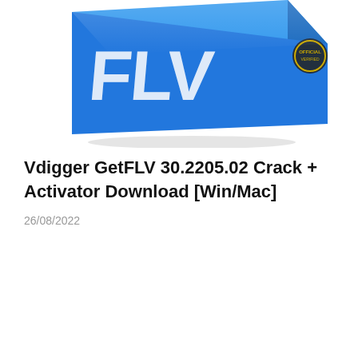[Figure (illustration): Blue 3D software box with 'FLV' text in large white letters on the front face, tilted at an angle. A gold/dark circular badge/seal is visible on the right side of the box.]
Vdigger GetFLV 30.2205.02 Crack + Activator Download [Win/Mac]
26/08/2022